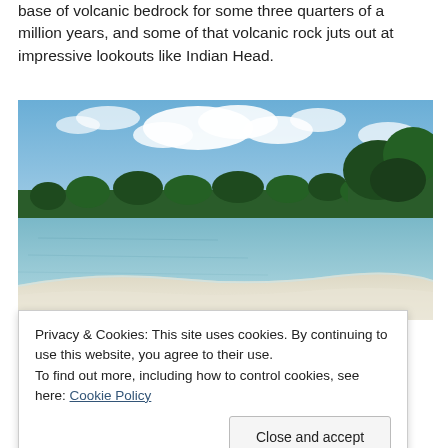base of volcanic bedrock for some three quarters of a million years, and some of that volcanic rock juts out at impressive lookouts like Indian Head.
[Figure (photo): Photograph of a calm lake or coastal inlet with clear shallow water and a white sandy shore in the foreground, dense green forest along the far bank, and a partly cloudy blue sky above.]
Privacy & Cookies: This site uses cookies. By continuing to use this website, you agree to their use.
To find out more, including how to control cookies, see here: Cookie Policy